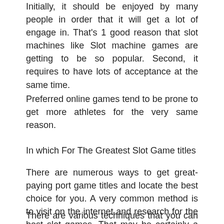Initially, it should be enjoyed by many people in order that it will get a lot of engage in. That's 1 good reason that slot machines like Slot machine games are getting to be so popular. Second, it requires to have lots of acceptance at the same time.
Preferred online games tend to be prone to get more athletes for the very same reason.
In which For The Greatest Slot Game titles
There are numerous ways to get great-paying port game titles and locate the best choice for you. A very common method is to visit on the internet and research for the best slot games. That may be certainly a great way to go about it, but it is not the only method.
There are various techniques that you can look for the